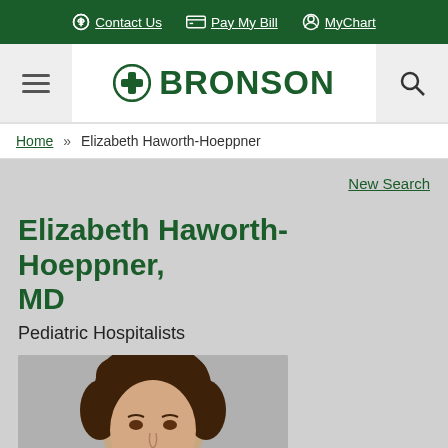Contact Us | Pay My Bill | MyChart
[Figure (logo): Bronson Health logo with cross icon and BRONSON wordmark in dark green]
Home » Elizabeth Haworth-Hoeppner
New Search
Elizabeth Haworth-Hoeppner, MD
Pediatric Hospitalists
[Figure (photo): Headshot photo of Dr. Elizabeth Haworth-Hoeppner, a woman with brown curly hair]